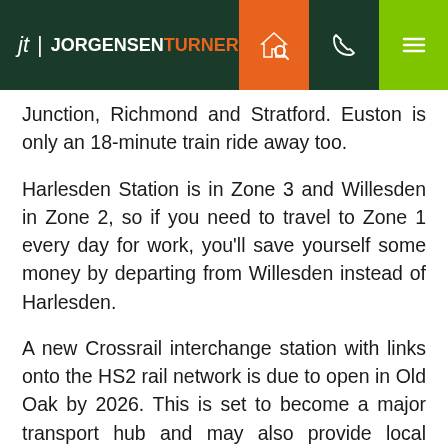JORGENSEN TURNER
Junction, Richmond and Stratford. Euston is only an 18-minute train ride away too.
Harlesden Station is in Zone 3 and Willesden in Zone 2, so if you need to travel to Zone 1 every day for work, you'll save yourself some money by departing from Willesden instead of Harlesden.
A new Crossrail interchange station with links onto the HS2 rail network is due to open in Old Oak by 2026. This is set to become a major transport hub and may also provide local residents with additional Tube and Overground links.